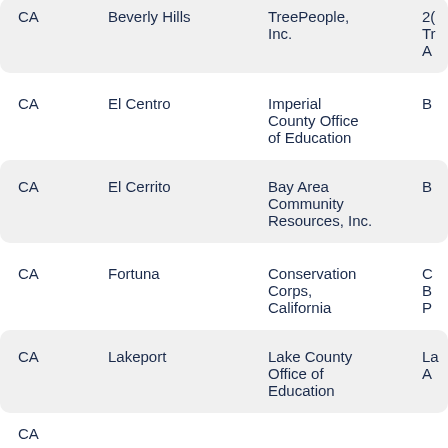| State | City | Organization |  |
| --- | --- | --- | --- |
| CA | Beverly Hills | TreePeople, Inc. | 2
Tr
A |
| CA | El Centro | Imperial County Office of Education | B |
| CA | El Cerrito | Bay Area Community Resources, Inc. | B |
| CA | Fortuna | Conservation Corps, California | C
B
P |
| CA | Lakeport | Lake County Office of Education | La
A |
| CA |  |  |  |